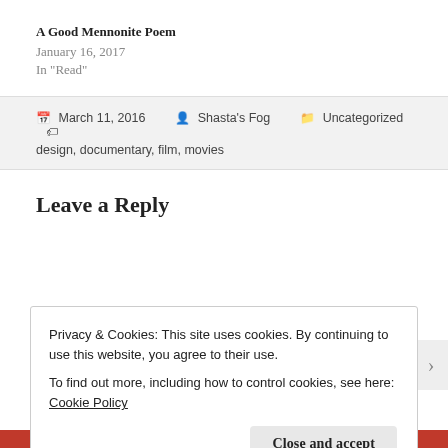A Good Mennonite Poem
January 16, 2017
In "Read"
March 11, 2016  Shasta's Fog  Uncategorized  design, documentary, film, movies
Leave a Reply
Privacy & Cookies: This site uses cookies. By continuing to use this website, you agree to their use.
To find out more, including how to control cookies, see here: Cookie Policy
Close and accept